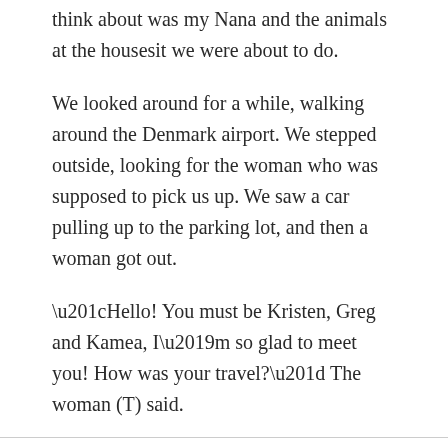think about was my Nana and the animals at the housesit we were about to do.
We looked around for a while, walking around the Denmark airport. We stepped outside, looking for the woman who was supposed to pick us up. We saw a car pulling up to the parking lot, and then a woman got out.
“Hello! You must be Kristen, Greg and Kamea, I’m so glad to meet you! How was your travel?” The woman (T) said.
“Yeah, well… it was good,” Mom said, stepping toward her.
“Good! Well, welcome to Denmark!” T said.